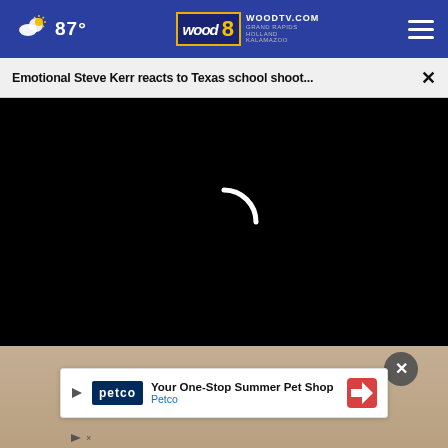87° WOODTV.COM GRAND RAPIDS HOLLAND KALAMAZOO wood 8
Emotional Steve Kerr reacts to Texas school shoot... ×
[Figure (screenshot): Black video player area with white loading spinner arc in the center]
[Figure (photo): Partial face of a person visible below the video player, warm beige/tan background]
[Figure (infographic): Petco advertisement banner: 'Your One-Stop Summer Pet Shop - Petco' with play button, petco logo, and navigation icon]